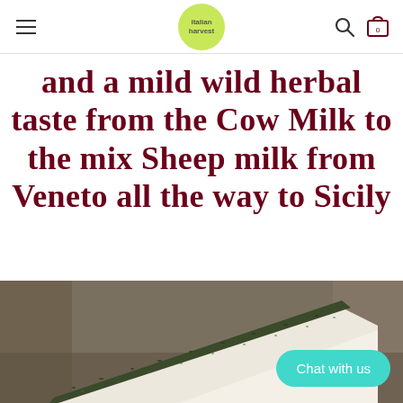Italian Harvest [logo] [search icon] [cart icon]
and a mild wild herbal taste from the Cow Milk to the mix Sheep milk from Veneto all the way to Sicily
[Figure (photo): Close-up photo of a wedge of herb-crusted Italian cheese, showing a dark green herb coating on the outside and white interior, with a blurred shop background.]